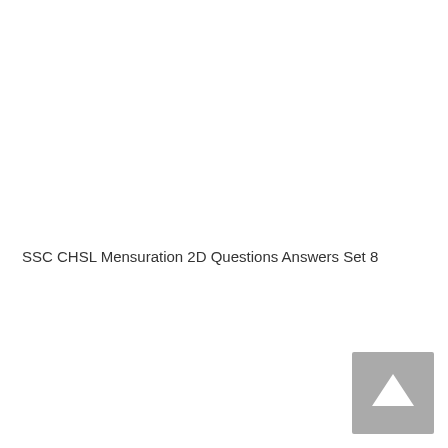SSC CHSL Mensuration 2D Questions Answers Set 8
[Figure (other): Scroll-to-top button: a dark gray square button with a white upward-pointing triangle/arrow in the bottom-right corner of the page.]